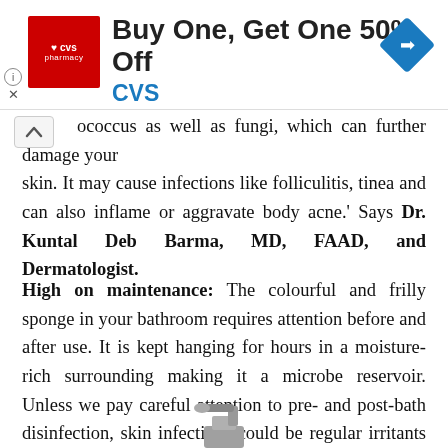[Figure (infographic): CVS Pharmacy advertisement banner: Buy One, Get One 50% Off CVS, with CVS logo and navigation icon]
ococcus as well as fungi, which can further damage your skin. It may cause infections like folliculitis, tinea and can also inflame or aggravate body acne.' Says Dr. Kuntal Deb Barma, MD, FAAD, and Dermatologist.
High on maintenance: The colourful and frilly sponge in your bathroom requires attention before and after use. It is kept hanging for hours in a moisture-rich surrounding making it a microbe reservoir. Unless we pay careful attention to pre- and post-bath disinfection, skin infections could be regular irritants in our lives as Dr. Deb Barma points out.
[Figure (photo): Partial image of a pump dispenser bottle at the bottom of the page]